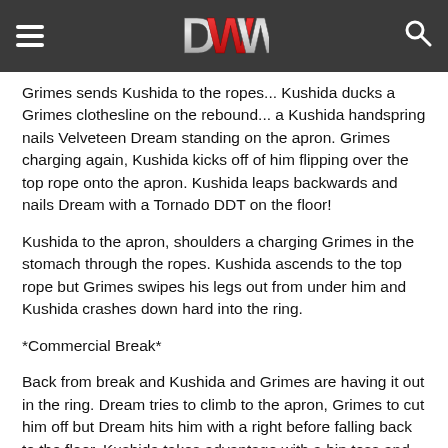DWW
Grimes sends Kushida to the ropes... Kushida ducks a Grimes clothesline on the rebound... a Kushida handspring nails Velveteen Dream standing on the apron. Grimes charging again, Kushida kicks off of him flipping over the top rope onto the apron. Kushida leaps backwards and nails Dream with a Tornado DDT on the floor!
Kushida to the apron, shoulders a charging Grimes in the stomach through the ropes. Kushida ascends to the top rope but Grimes swipes his legs out from under him and Kushida crashes down hard into the ring.
*Commercial Break*
Back from break and Kushida and Grimes are having it out in the ring. Dream tries to climb to the apron, Grimes to cut him off but Dream hits him with a right before falling back to the floor. Kushida takes advantage with a hip toss and dropkick to follow.